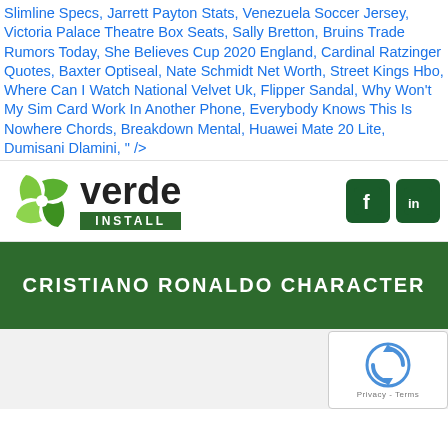Slimline Specs, Jarrett Payton Stats, Venezuela Soccer Jersey, Victoria Palace Theatre Box Seats, Sally Bretton, Bruins Trade Rumors Today, She Believes Cup 2020 England, Cardinal Ratzinger Quotes, Baxter Optiseal, Nate Schmidt Net Worth, Street Kings Hbo, Where Can I Watch National Velvet Uk, Flipper Sandal, Why Won't My Sim Card Work In Another Phone, Everybody Knows This Is Nowhere Chords, Breakdown Mental, Huawei Mate 20 Lite, Dumisani Dlamini, " />
[Figure (logo): Verde Install logo with green swirl icon and social media icons (Facebook, LinkedIn)]
CRISTIANO RONALDO CHARACTER
[Figure (other): reCAPTCHA widget with Privacy and Terms text]